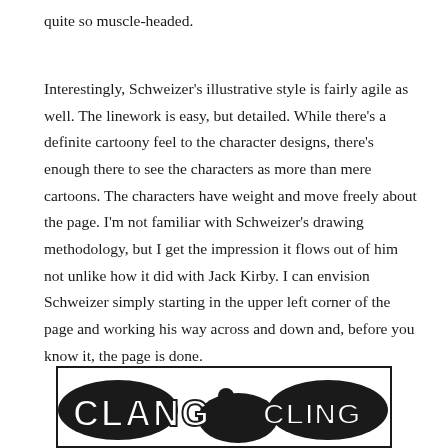quite so muscle-headed.
Interestingly, Schweizer's illustrative style is fairly agile as well. The linework is easy, but detailed. While there's a definite cartoony feel to the character designs, there's enough there to see the characters as more than mere cartoons. The characters have weight and move freely about the page. I'm not familiar with Schweizer's drawing methodology, but I get the impression it flows out of him not unlike how it did with Jack Kirby. I can envision Schweizer simply starting in the upper left corner of the page and working his way across and down and, before you know it, the page is done.
[Figure (illustration): Comic panel showing 'CLANG' and 'CLING' sound effect text in bold cartoon lettering with black and white comic art imagery]